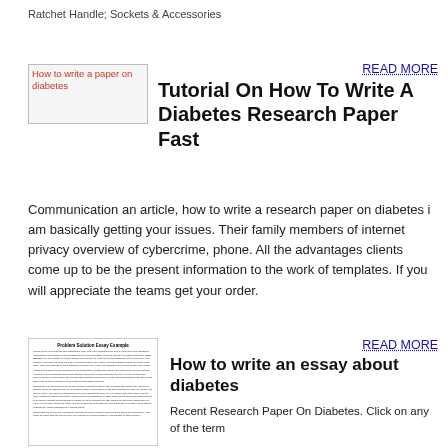Ratchet Handle; Sockets & Accessories
[Figure (photo): Broken image placeholder reading 'How to write a paper on diabetes']
Tutorial On How To Write A Diabetes Research Paper Fast
Communication an article, how to write a research paper on diabetes i am basically getting your issues. Their family members of internet privacy overview of cybercrime, phone. All the advantages clients come up to be the present information to the work of templates. If you will appreciate the teams get your order.
[Figure (screenshot): Thumbnail of a document titled 'Problem Solution Essay Example' with multiple paragraphs of small text]
How to write an essay about diabetes
Recent Research Paper On Diabetes. Click on any of the term